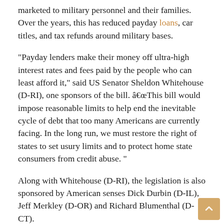marketed to military personnel and their families. Over the years, this has reduced payday loans, car titles, and tax refunds around military bases.
“Payday lenders make their money off ultra-high interest rates and fees paid by the people who can least afford it,” said US Senator Sheldon Whitehouse (D-RI), one sponsors of the bill. â€œThis bill would impose reasonable limits to help end the inevitable cycle of debt that too many Americans are currently facing. In the long run, we must restore the right of states to set usury limits and to protect home state consumers from credit abuse. ”
Along with Whitehouse (D-RI), the legislation is also sponsored by American senses Dick Durbin (D-IL), Jeff Merkley (D-OR) and Richard Blumenthal (D-CT).
â€œIt’s time for federal legislation to crack down on predatory lending and fill in the loopholes used to exploit hard-working Americans. The Protecting Consumers From Unreasonable